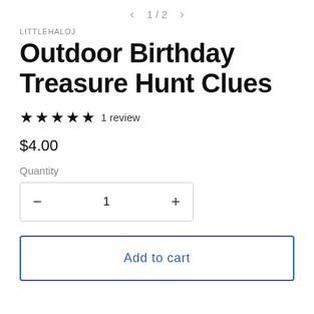< 1 / 2 >
LITTLEHALOJ
Outdoor Birthday Treasure Hunt Clues
★★★★★ 1 review
$4.00
Quantity
− 1 +
Add to cart